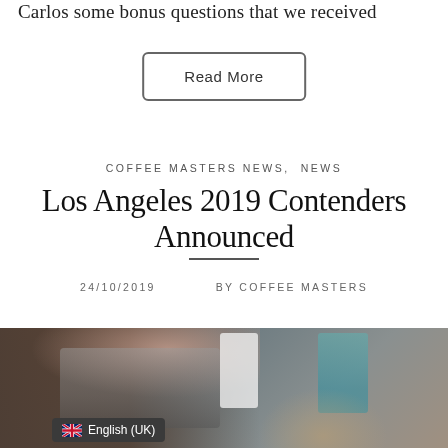Carlos some bonus questions that we received
Read More
COFFEE MASTERS NEWS, NEWS
Los Angeles 2019 Contenders Announced
24/10/2019   BY COFFEE MASTERS
[Figure (photo): A barista working at a coffee bar, with espresso machines, cups of coffee with latte art, a white cylindrical cup, a blue/teal coffee bag, cards and items on a dark counter. A language selector badge showing English (UK) with a UK flag is visible in the bottom left of the image.]